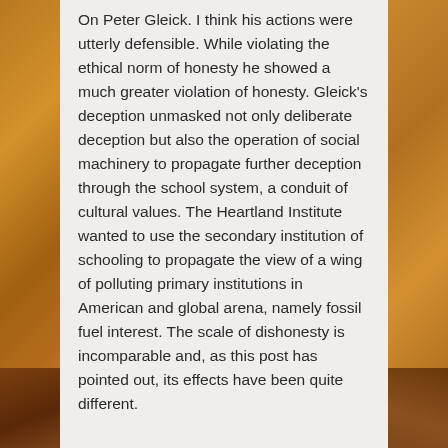On Peter Gleick. I think his actions were utterly defensible. While violating the ethical norm of honesty he showed a much greater violation of honesty. Gleick's deception unmasked not only deliberate deception but also the operation of social machinery to propagate further deception through the school system, a conduit of cultural values. The Heartland Institute wanted to use the secondary institution of schooling to propagate the view of a wing of polluting primary institutions in American and global arena, namely fossil fuel interest. The scale of dishonesty is incomparable and, as this post has pointed out, its effects have been quite different.